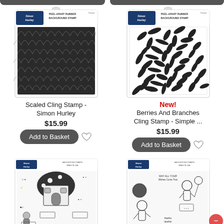[Figure (photo): Scaled Cling Stamp product packaging - Simon Hurley, showing black scale/fish-scale pattern rubber stamp]
Scaled Cling Stamp - Simon Hurley
$15.99
Add to Basket
New!
[Figure (photo): Berries And Branches Cling Stamp product packaging - Simple Stories, showing black leaf/berries pattern rubber stamp]
Berries And Branches Cling Stamp - Simple  ...
$15.99
Add to Basket
[Figure (photo): Clear stamp set packaging showing gnome/fairy house with mushroom roof and various character stamps]
[Figure (photo): Clear stamp set packaging showing children/kids character stamps with birthday and school themes]